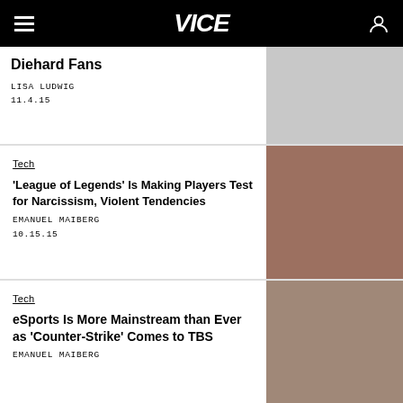VICE
Diehard Fans
LISA LUDWIG
11.4.15
Tech
'League of Legends' Is Making Players Test for Narcissism, Violent Tendencies
EMANUEL MAIBERG
10.15.15
Tech
eSports Is More Mainstream than Ever as 'Counter-Strike' Comes to TBS
EMANUEL MAIBERG